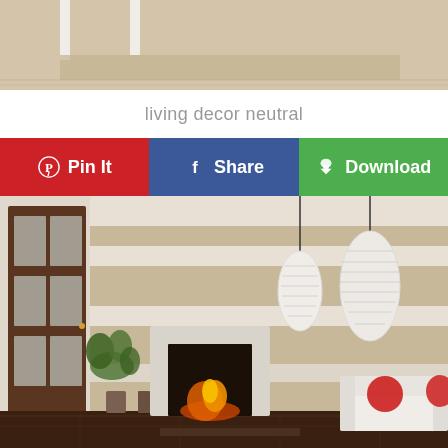[Figure (photo): Top portion of a neutral-toned bedroom/living area with beige/cream flooring and white furniture legs visible]
living decor neutral
[Figure (infographic): Social sharing button bar with three buttons: Pin It (Pinterest, red), Share (Facebook, blue), Download (green with cloud-download icon)]
[Figure (photo): Modern living room with horizontal striped beige and cream wall, dark wood door on left, pendant lights hanging from ceiling, built-in fireplace with fire visible, white sofa with red pillows on right, indoor plant near fireplace]